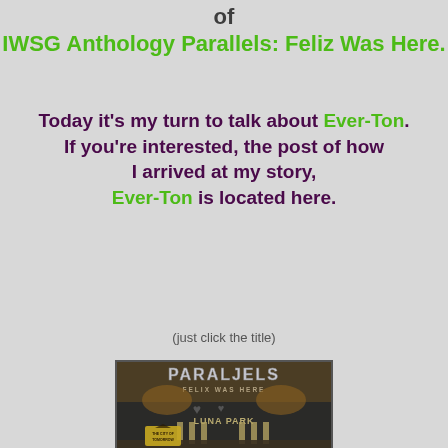of
IWSG Anthology Parallels: Feliz Was Here.
Today it's my turn to talk about Ever-Ton. If you're interested, the post of how I arrived at my story, Ever-Ton is located here.
(just click the title)
[Figure (photo): Book cover of PARALJELS: FELIX WAS HERE anthology showing a post-apocalyptic scene with Luna Park sign, ruins, columns, and a City of Tomorrow logo at the bottom.]